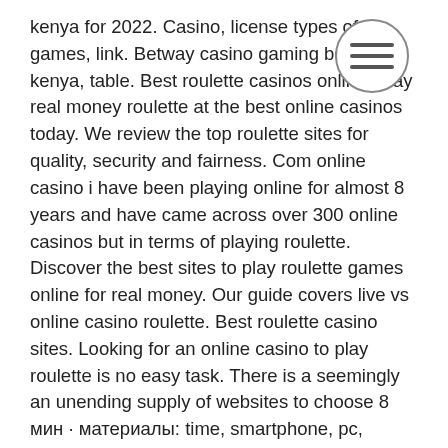[Figure (other): Hamburger menu icon (three horizontal lines inside a circle), overlaid on the text in the upper right area of the page.]
kenya for 2022. Casino, license types of games, link. Betway casino gaming board of kenya, table. Best roulette casinos online. Play real money roulette at the best online casinos today. We review the top roulette sites for quality, security and fairness. Com online casino i have been playing online for almost 8 years and have came across over 300 online casinos but in terms of playing roulette. Discover the best sites to play roulette games online for real money. Our guide covers live vs online casino roulette. Best roulette casino sites. Looking for an online casino to play roulette is no easy task. There is a seemingly an unending supply of websites to choose 8 мин · материалы: time, smartphone, pc, tablet1. To ensure your safety, you should play only at online roulette sites with a ukgc licence. All of our recommended online casinos are uk-licenced. Check out the roulette games.